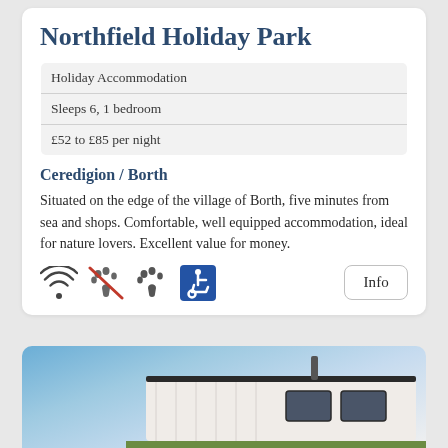Northfield Holiday Park
| Holiday Accommodation |
| Sleeps 6, 1 bedroom |
| £52 to £85 per night |
Ceredigion / Borth
Situated on the edge of the village of Borth, five minutes from sea and shops. Comfortable, well equipped accommodation, ideal for nature lovers. Excellent value for money.
[Figure (infographic): Row of icons: WiFi symbol, no-pets icon (paw with red cross), pets allowed paw print, wheelchair accessibility symbol. Info button on the right.]
[Figure (photo): Photo of a white mobile home / static caravan exterior with blue sky background]